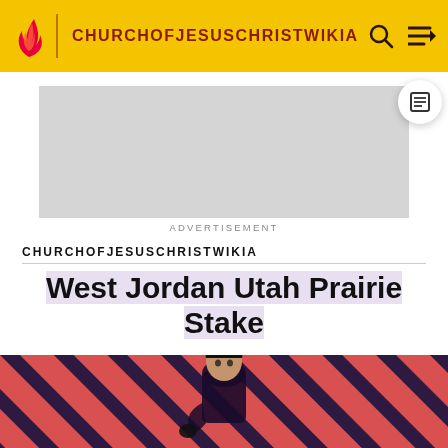CHURCHOFJESUSCHRISTWIKIA
[Figure (screenshot): Gray advertisement placeholder rectangle]
ADVERTISEMENT
CHURCHOFJESUSCHRISTWIKIA
West Jordan Utah Prairie Stake
[Figure (photo): Bottom banner with red and dark diagonal stripes and a figure of a person in the center]